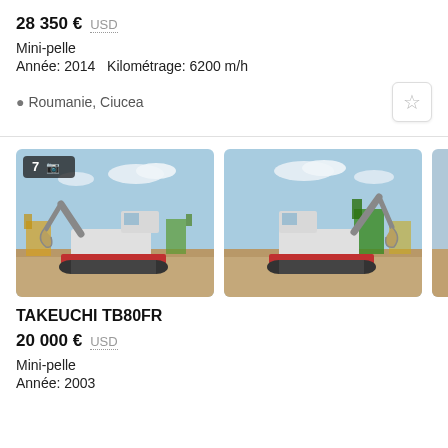28 350 € USD
Mini-pelle
Année: 2014   Kilométrage: 6200 m/h
Roumanie, Ciucea
[Figure (photo): Mini-excavator (Takeuchi) parked in a yard, front-left view, with other construction machinery in background. Badge showing '7' and camera icon.]
[Figure (photo): Mini-excavator (Takeuchi) parked in a yard, front-right view, with green construction equipment visible in background.]
TAKEUCHI TB80FR
20 000 € USD
Mini-pelle
Année: 2003